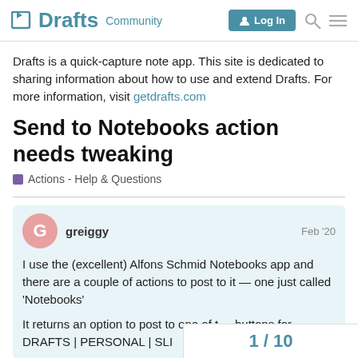Drafts Community — Log In
Drafts is a quick-capture note app. This site is dedicated to sharing information about how to use and extend Drafts. For more information, visit getdrafts.com
Send to Notebooks action needs tweaking
Actions - Help & Questions
greiggy  Feb '20
I use the (excellent) Alfons Schmid Notebooks app and there are a couple of actions to post to it — one just called 'Notebooks'

It returns an option to post to one of the buttons for DRAFTS | PERSONAL | SLI
1 / 10